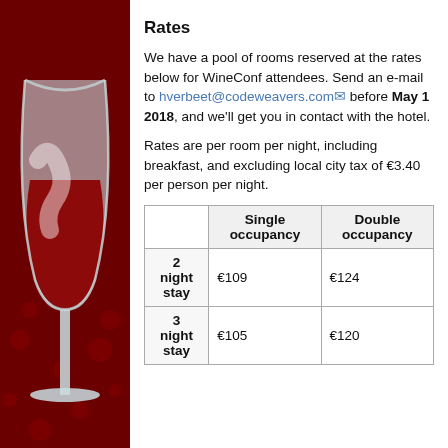[Figure (illustration): Wine glass illustration with red wine on a dark red background with decorative dot pattern]
Rates
We have a pool of rooms reserved at the rates below for WineConf attendees. Send an e-mail to hverbeet@codeweavers.com before May 1 2018, and we'll get you in contact with the hotel.
Rates are per room per night, including breakfast, and excluding local city tax of €3.40 per person per night.
|  | Single occupancy | Double occupancy |
| --- | --- | --- |
| 2 night stay | €109 | €124 |
| 3 night stay | €105 | €120 |